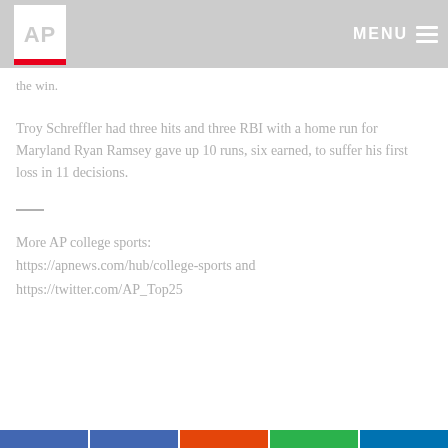AP MENU
the win.
Troy Schreffler had three hits and three RBI with a home run for Maryland Ryan Ramsey gave up 10 runs, six earned, to suffer his first loss in 11 decisions.
More AP college sports: https://apnews.com/hub/college-sports and https://twitter.com/AP_Top25
Social share buttons